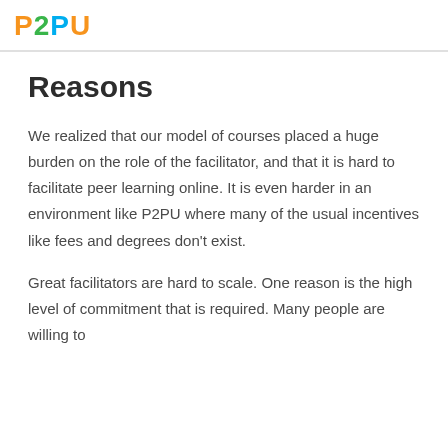P2PU
Reasons
We realized that our model of courses placed a huge burden on the role of the facilitator, and that it is hard to facilitate peer learning online. It is even harder in an environment like P2PU where many of the usual incentives like fees and degrees don't exist.
Great facilitators are hard to scale. One reason is the high level of commitment that is required. Many people are willing to